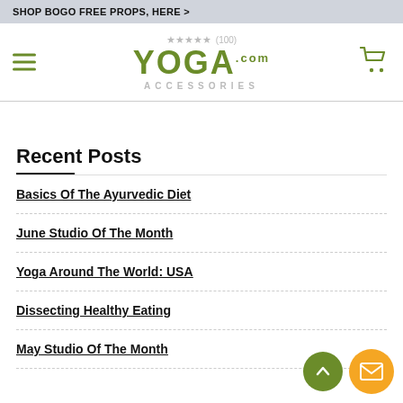SHOP BOGO FREE PROPS, HERE >
[Figure (logo): YogaAccessories.com logo with star rating (100) and hamburger menu and cart icon]
Recent Posts
Basics Of The Ayurvedic Diet
June Studio Of The Month
Yoga Around The World: USA
Dissecting Healthy Eating
May Studio Of The Month